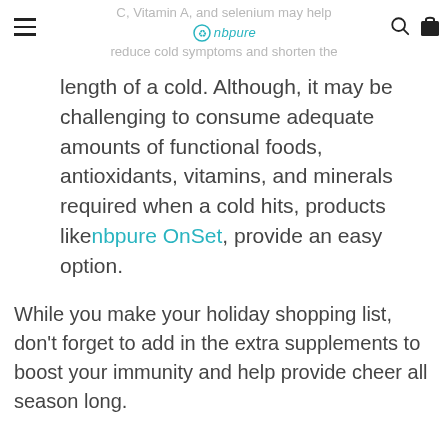C, Vitamin A, and selenium may help reduce cold symptoms and shorten the length of a cold. Although, it may be challenging to consume adequate amounts of functional foods, antioxidants, vitamins, and minerals required when a cold hits, products like nbpure OnSet, provide an easy option.
While you make your holiday shopping list, don't forget to add in the extra supplements to boost your immunity and help provide cheer all season long.